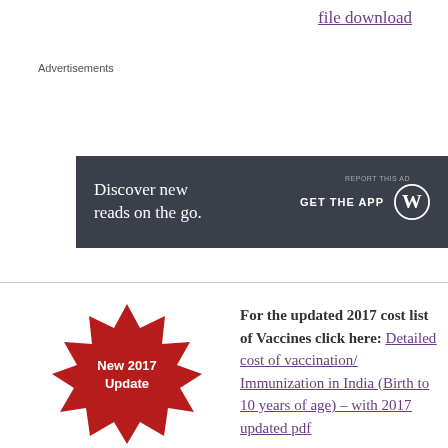file download
Advertisements
[Figure (other): Advertisement banner: dark background with text 'Discover new reads on the go.' and 'GET THE APP' with WordPress logo]
REPORT THIS AD
[Figure (illustration): Red starburst badge with text 'New 2017 Update']
For the updated 2017 cost list of Vaccines click here: Detailed cost of vaccination/ Immunization in India (Birth to 10 years of age) – with 2017 updated pdf